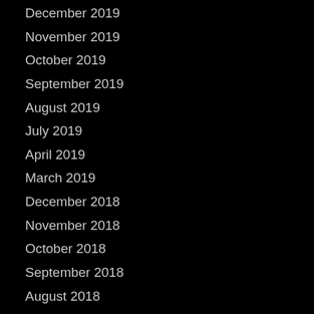December 2019
November 2019
October 2019
September 2019
August 2019
July 2019
April 2019
March 2019
December 2018
November 2018
October 2018
September 2018
August 2018
July 2018
June 2018
May 2018
April 2018